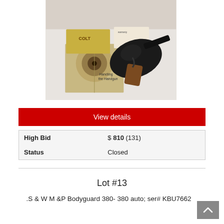[Figure (photo): Colt revolver handgun with accessories including Colt branding materials, a target sheet titled 'Handling the Handgun', a warranty card, and other documents, displayed on a white surface.]
View details
| High Bid | $ 810 (131) |
| Status | Closed |
Lot #13
.S & W M &P Bodyguard 380- 380 auto; ser# KBU7662